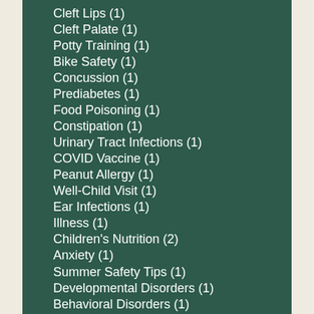Cleft Lips (1)
Cleft Palate (1)
Potty Training (1)
Bike Safety (1)
Concussion (1)
Prediabetes (1)
Food Poisoning (1)
Constipation (1)
Urinary Tract Infections (1)
COVID Vaccine (1)
Peanut Allergy (1)
Well-Child Visit (1)
Ear Infections (1)
Illness (1)
Children's Nutrition (2)
Anxiety (1)
Summer Safety Tips (1)
Developmental Disorders (1)
Behavioral Disorders (1)
Behavioral Health (1)
Wellness Checkups (1)